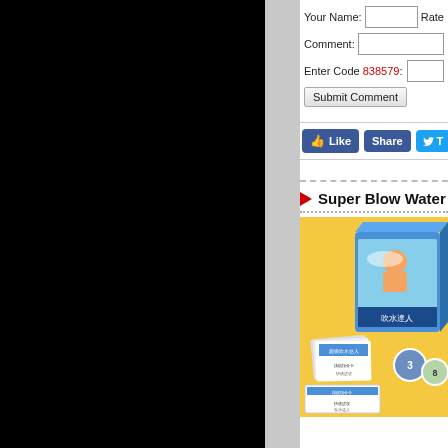[Figure (screenshot): Black area covering left portion of page]
[Figure (screenshot): Gray vertical strip separating black area and white content]
Your Name:
Rate
Comment:
Enter Code 838579:
Submit Comment
[Figure (screenshot): Facebook Like button (blue), Share button (blue), and Twitter button (blue) in a row]
Super Blow Water
[Figure (photo): Product photo of Super Blow Water card game on yellow background, showing box and cards with Japanese text]